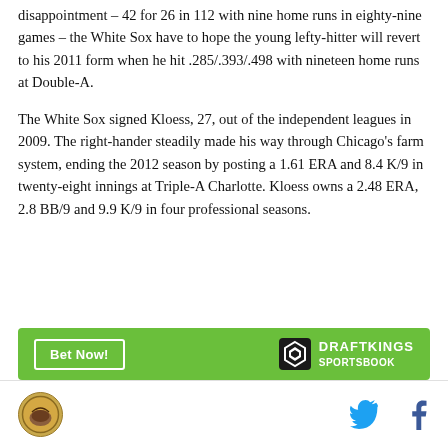disappointment – 42 for 26 in 112 with nine home runs in eighty-nine games – the White Sox have to hope the young lefty-hitter will revert to his 2011 form when he hit .285/.393/.498 with nineteen home runs at Double-A.
The White Sox signed Kloess, 27, out of the independent leagues in 2009. The right-hander steadily made his way through Chicago's farm system, ending the 2012 season by posting a 1.61 ERA and 8.4 K/9 in twenty-eight innings at Triple-A Charlotte. Kloess owns a 2.48 ERA, 2.8 BB/9 and 9.9 K/9 in four professional seasons.
[Figure (other): DraftKings Sportsbook advertisement banner with green background, 'Bet Now!' button, and DraftKings Sportsbook logo]
Site logo on left, Twitter and Facebook social icons on right